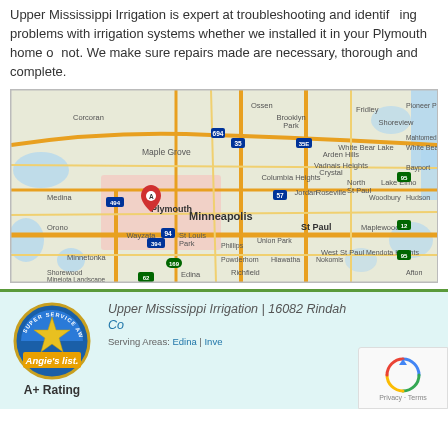Upper Mississippi Irrigation is expert at troubleshooting and identifying problems with irrigation systems whether we installed it in your Plymouth home or not. We make sure the repairs made are necessary, thorough and complete.
[Figure (map): Google Map showing Minneapolis-St. Paul metro area with Plymouth, MN highlighted and marked with a red pin (marker A). The map shows surrounding communities including Maple Grove, Brooklyn Park, Fridley, Shoreview, Crystal, Roseville, Minneapolis, St. Paul, Maplewood, Woodbury, Minnetonka, Edina, Richfield, and others. Road networks shown in orange/yellow.]
Upper Mississippi Irrigation | 16082 Rindah
Co
Serving Areas: Edina | Inve
A+ Rating